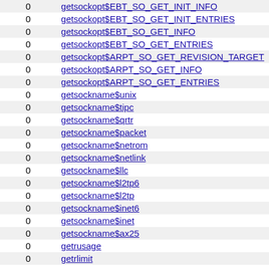|  |  |
| --- | --- |
| 0 | getsockopt$EBT_SO_GET_INIT_INFO |
| 0 | getsockopt$EBT_SO_GET_INIT_ENTRIES |
| 0 | getsockopt$EBT_SO_GET_INFO |
| 0 | getsockopt$EBT_SO_GET_ENTRIES |
| 0 | getsockopt$ARPT_SO_GET_REVISION_TARGET |
| 0 | getsockopt$ARPT_SO_GET_INFO |
| 0 | getsockopt$ARPT_SO_GET_ENTRIES |
| 0 | getsockname$unix |
| 0 | getsockname$tipc |
| 0 | getsockname$qrtr |
| 0 | getsockname$packet |
| 0 | getsockname$netrom |
| 0 | getsockname$netlink |
| 0 | getsockname$llc |
| 0 | getsockname$l2tp6 |
| 0 | getsockname$l2tp |
| 0 | getsockname$inet6 |
| 0 | getsockname$inet |
| 0 | getsockname$ax25 |
| 0 | getrusage |
| 0 | getrlimit |